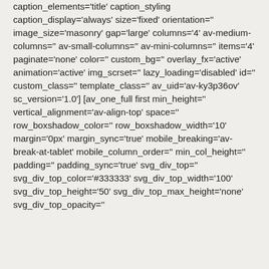caption_elements='title' caption_styling caption_display='always' size='fixed' orientation='' image_size='masonry' gap='large' columns='4' av-medium-columns='' av-small-columns='' av-mini-columns='' items='4' paginate='none' color='' custom_bg='' overlay_fx='active' animation='active' img_scrset='' lazy_loading='disabled' id='' custom_class='' template_class='' av_uid='av-ky3p36ov' sc_version='1.0'] [av_one_full first min_height='' vertical_alignment='av-align-top' space='' row_boxshadow_color='' row_boxshadow_width='10' margin='0px' margin_sync='true' mobile_breaking='av-break-at-tablet' mobile_column_order='' min_col_height='' padding='' padding_sync='true' svg_div_top='' svg_div_top_color='#333333' svg_div_top_width='100' svg_div_top_height='50' svg_div_top_max_height='none' svg_div_top_opacity=''